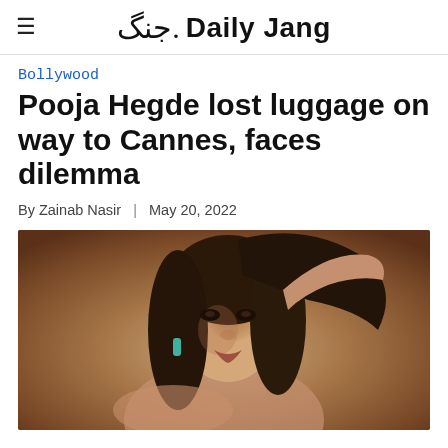Daily Jang
Bollywood
Pooja Hegde lost luggage on way to Cannes, faces dilemma
By Zainab Nasir | May 20, 2022
[Figure (photo): Portrait photo of Pooja Hegde with dark hair, hand raised behind head, against a warm brown background, wearing a teal earring]